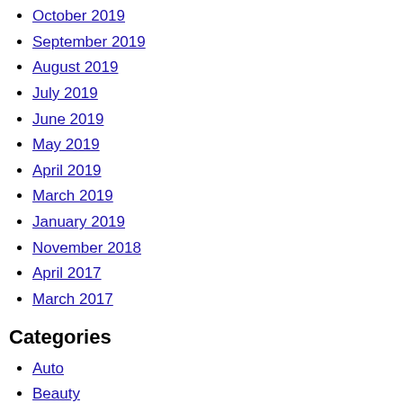October 2019
September 2019
August 2019
July 2019
June 2019
May 2019
April 2019
March 2019
January 2019
November 2018
April 2017
March 2017
Categories
Auto
Beauty
Business
Cryptography
Ecoin
education
Entertainment
Fashion
Finance
Fitness